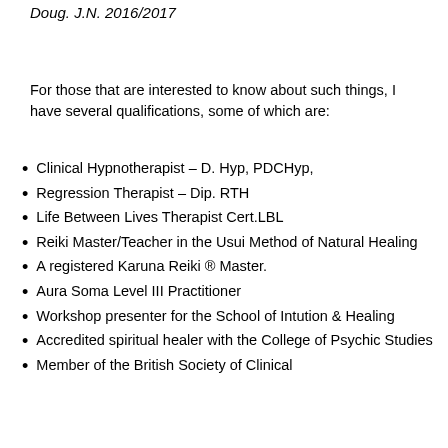Doug. J.N. 2016/2017
For those that are interested to know about such things, I have several qualifications, some of which are:
Clinical Hypnotherapist – D. Hyp, PDCHyp,
Regression Therapist – Dip. RTH
Life Between Lives Therapist Cert.LBL
Reiki Master/Teacher in the Usui Method of Natural Healing
A registered Karuna Reiki ® Master.
Aura Soma Level III Practitioner
Workshop presenter for the School of Intution & Healing
Accredited spiritual healer with the College of Psychic Studies
Member of the British Society of Clinical